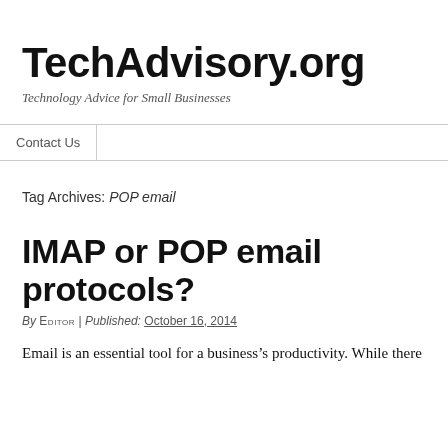TechAdvisory.org
Technology Advice for Small Businesses
Contact Us
Tag Archives: POP email
IMAP or POP email protocols?
By EDITOR | Published: OCTOBER 16, 2014
Email is an essential tool for a business's productivity. While there